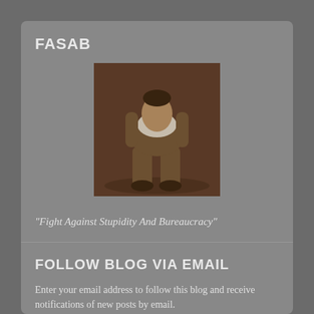FASAB
[Figure (photo): Sepia-toned photo of a person kneeling/bending forward with head down, viewed from behind/side, wearing a suit]
"Fight Against Stupidity And Bureaucracy"
FOLLOW BLOG VIA EMAIL
Enter your email address to follow this blog and receive notifications of new posts by email.
Enter your email address
Follow